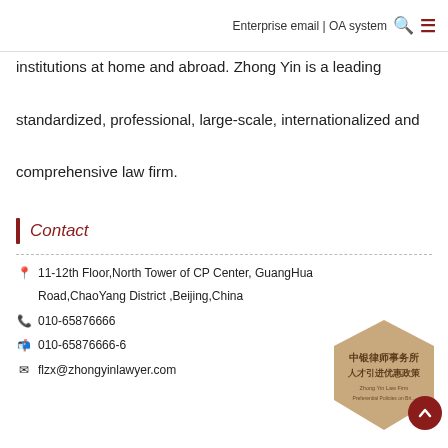Enterprise email | OA system
institutions at home and abroad. Zhong Yin is a leading standardized, professional, large-scale, internationalized and comprehensive law firm.
Contact
11-12th Floor,North Tower of CP Center, GuangHua Road,ChaoYang District ,Beijing,China
010-65876666
010-65876666-6
flzx@zhongyinlawyer.com
[Figure (illustration): Hexagonal logo/badge for Zhong Yin Law Firm showing Chinese text '中银律师事务所 人才引进优惠政策' and English text 'Zhong Yin Law Firm Preferential Policies on Bri...' on a tan/gold hexagon background, with a dark red circular back-to-top button overlapping at bottom right.]